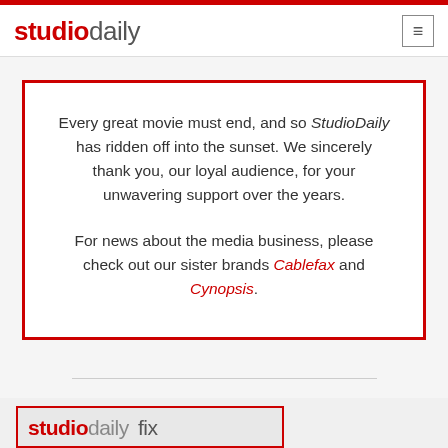studiodaily
Every great movie must end, and so StudioDaily has ridden off into the sunset. We sincerely thank you, our loyal audience, for your unwavering support over the years.

For news about the media business, please check out our sister brands Cablefax and Cynopsis.
[Figure (logo): studiodaily fix logo partial at bottom of page]